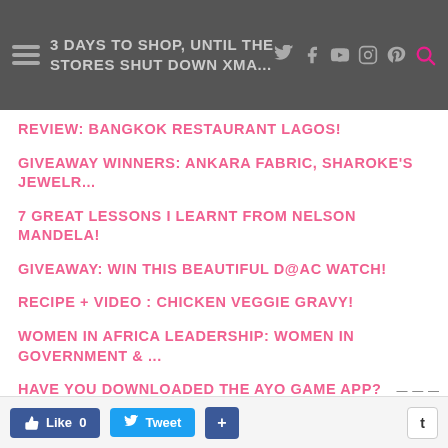3 DAYS TO SHOP, UNTIL THE STORES SHUT DOWN XMA...
REVIEW: BANGKOK RESTAURANT LAGOS!
GIVEAWAY WINNERS: ANKARA FABRIC, SHAROKE'S JEWELR...
7 GREAT LESSONS I LEARNT FROM NELSON MANDELA!
GIVEAWAY: WIN THIS BEAUTIFUL D@AC WATCH!
RECIPE + VIDEO : CHICKEN VEGGIE GRAVY!
WOMEN IN AFRICA LEADERSHIP: WOMEN IN GOVERNMENT & ...
HAVE YOU DOWNLOADED THE AYO GAME APP?
Like 0  Tweet  +  t